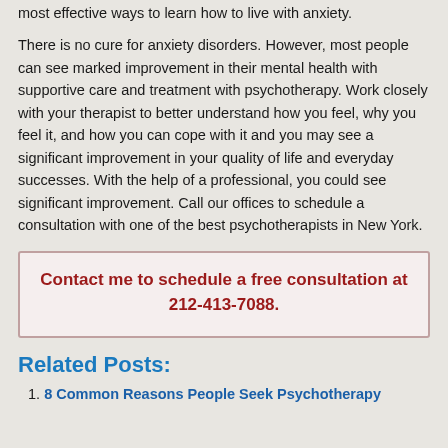most effective ways to learn how to live with anxiety.
There is no cure for anxiety disorders. However, most people can see marked improvement in their mental health with supportive care and treatment with psychotherapy. Work closely with your therapist to better understand how you feel, why you feel it, and how you can cope with it and you may see a significant improvement in your quality of life and everyday successes. With the help of a professional, you could see significant improvement. Call our offices to schedule a consultation with one of the best psychotherapists in New York.
Contact me to schedule a free consultation at 212-413-7088.
Related Posts:
8 Common Reasons People Seek Psychotherapy